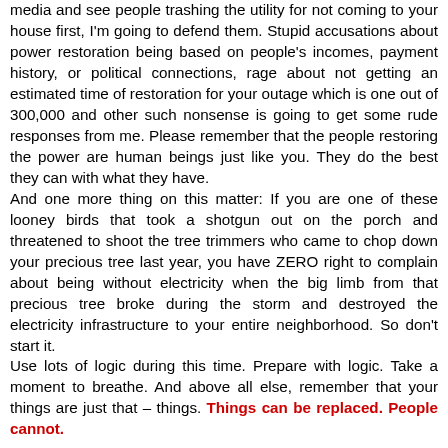media and see people trashing the utility for not coming to your house first, I'm going to defend them. Stupid accusations about power restoration being based on people's incomes, payment history, or political connections, rage about not getting an estimated time of restoration for your outage which is one out of 300,000 and other such nonsense is going to get some rude responses from me. Please remember that the people restoring the power are human beings just like you. They do the best they can with what they have.
And one more thing on this matter: If you are one of these looney birds that took a shotgun out on the porch and threatened to shoot the tree trimmers who came to chop down your precious tree last year, you have ZERO right to complain about being without electricity when the big limb from that precious tree broke during the storm and destroyed the electricity infrastructure to your entire neighborhood. So don't start it.
Use lots of logic during this time. Prepare with logic. Take a moment to breathe. And above all else, remember that your things are just that – things. Things can be replaced. People cannot.